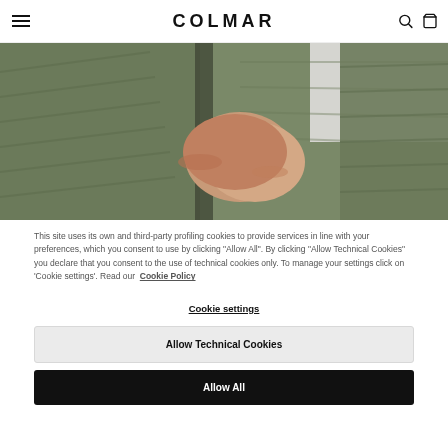COLMAR
[Figure (photo): Close-up of a person wearing an olive/khaki green quilted down jacket, hands crossed at chest level, showing the jacket's texture and zipper detail against a light grey background.]
This site uses its own and third-party profiling cookies to provide services in line with your preferences, which you consent to use by clicking "Allow All". By clicking "Allow Technical Cookies" you declare that you consent to the use of technical cookies only. To manage your settings click on 'Cookie settings'. Read our Cookie Policy
Cookie settings
Allow Technical Cookies
Allow All